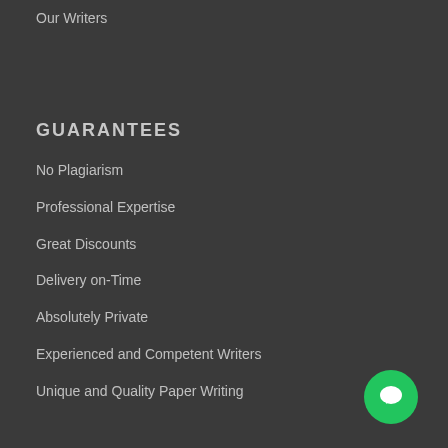Our Writers
GUARANTEES
No Plagiarism
Professional Expertise
Great Discounts
Delivery on-Time
Absolutely Private
Experienced and Competent Writers
Unique and Quality Paper Writing
[Figure (illustration): Green circular chat button with white chat bubble icon in bottom right corner]